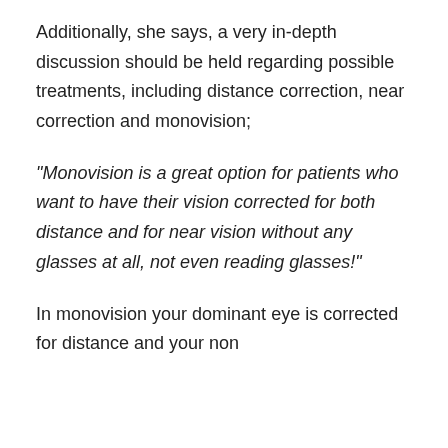Additionally, she says, a very in-depth discussion should be held regarding possible treatments, including distance correction, near correction and monovision;
“Monovision is a great option for patients who want to have their vision corrected for both distance and for near vision without any glasses at all, not even reading glasses!”
In monovision your dominant eye is corrected for distance and your non